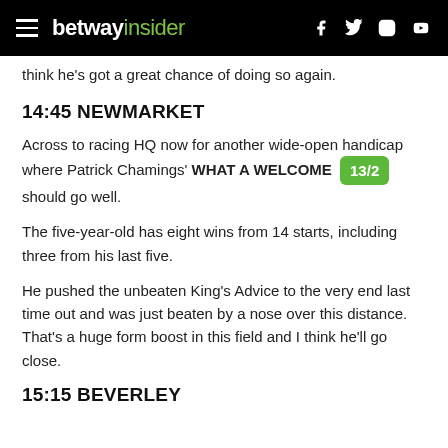betway insider
think he's got a great chance of doing so again.
14:45 NEWMARKET
Across to racing HQ now for another wide-open handicap where Patrick Chamings' WHAT A WELCOME 13/2 should go well.
The five-year-old has eight wins from 14 starts, including three from his last five.
He pushed the unbeaten King's Advice to the very end last time out and was just beaten by a nose over this distance. That's a huge form boost in this field and I think he'll go close.
15:15 BEVERLEY